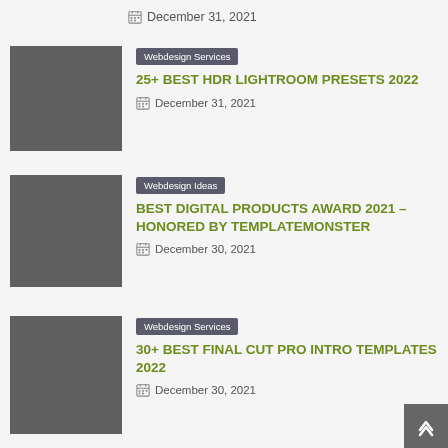December 31, 2021
[Figure (photo): Thumbnail image placeholder for HDR Lightroom Presets article]
Webdesign Services
25+ BEST HDR LIGHTROOM PRESETS 2022
December 31, 2021
[Figure (photo): Thumbnail image placeholder for Best Digital Products Award 2021 article]
Webdesign Ideas
BEST DIGITAL PRODUCTS AWARD 2021 – HONORED BY TEMPLATEMONSTER
December 30, 2021
[Figure (photo): Thumbnail image placeholder for Best Final Cut Pro Intro Templates article]
Webdesign Services
30+ BEST FINAL CUT PRO INTRO TEMPLATES 2022
December 30, 2021